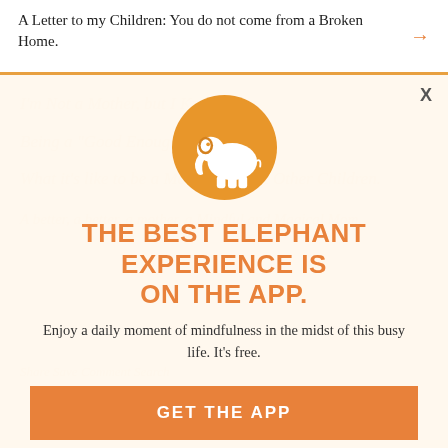A Letter to my Children: You do not come from a Broken Home.
[Figure (logo): Elephant Journal app logo — white elephant silhouette on an orange/amber circular background]
THE BEST ELEPHANT EXPERIENCE IS ON THE APP.
Enjoy a daily moment of mindfulness in the midst of this busy life. It's free.
GET THE APP
OPEN IN APP